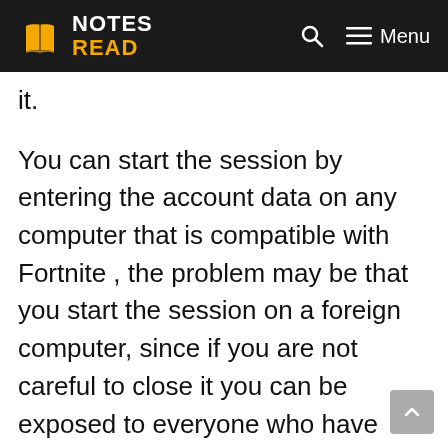NOTES READ | Menu
it.
You can start the session by entering the account data on any computer that is compatible with Fortnite , the problem may be that you start the session on a foreign computer, since if you are not careful to close it you can be exposed to everyone who have access to the equipment.
Therefore, whenever you use a piece of equipment that is not for your exclusive use, it is better that you close the session so that no one has access to it and, due to mishandling ,